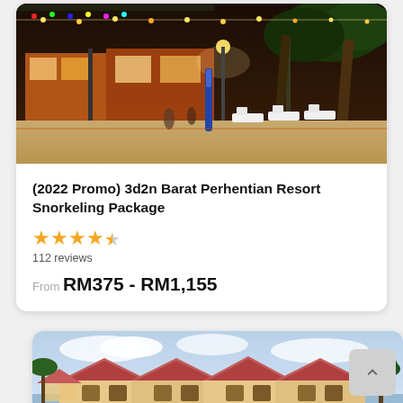[Figure (photo): Beach resort photo showing sandy beach with lounge chairs, tropical trees with string lights, and a beachfront pavilion/shop at dusk]
(2022 Promo) 3d2n Barat Perhentian Resort Snorkeling Package
4.5 stars, 112 reviews
From RM375 - RM1,155
[Figure (photo): Traditional Malaysian-style resort building with peaked roofs, palm trees, and overwater structure]